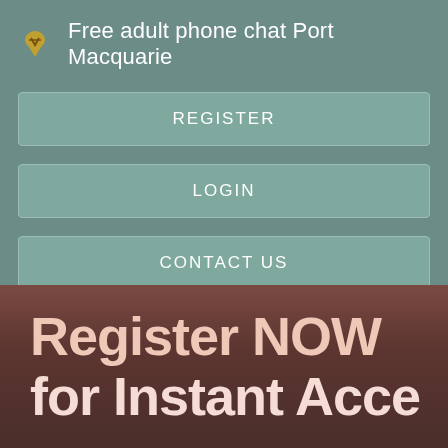Free adult phone chat Port Macquarie
REGISTER
LOGIN
CONTACT US
[Figure (photo): Background photo of a woman with overlaid promotional text reading 'Register NOW for Instant Acce...']